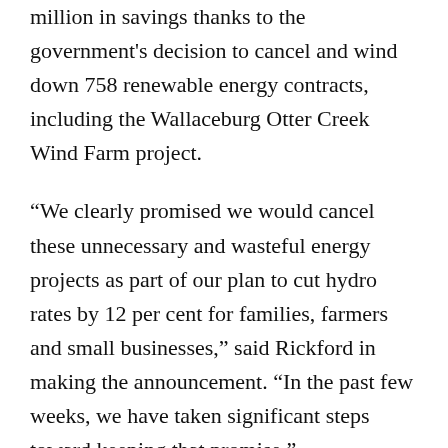million in savings thanks to the government's decision to cancel and wind down 758 renewable energy contracts, including the Wallaceburg Otter Creek Wind Farm project.
“We clearly promised we would cancel these unnecessary and wasteful energy projects as part of our plan to cut hydro rates by 12 per cent for families, farmers and small businesses,” said Rickford in making the announcement. “In the past few weeks, we have taken significant steps toward keeping that promise.”
Rickford said all of the cancelled projects have not reached project development milestones. Terminating the projects at this early stage will